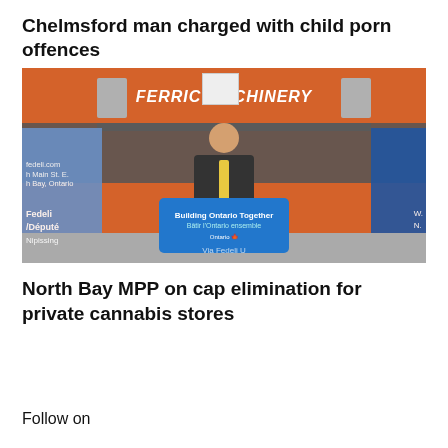Chelmsford man charged with child porn offences
[Figure (photo): A man in a dark suit with a yellow tie stands at a podium marked 'Building Ontario Together / Bâtir l'Ontario ensemble' with Ontario logo, inside an industrial facility (Ferric Machinery) with orange walls and heavy press machinery. A Fedeli / Député Nipissing banner is visible on the left side.]
North Bay MPP on cap elimination for private cannabis stores
Follow on